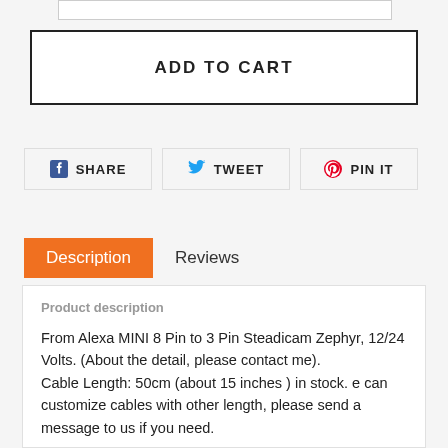ADD TO CART
SHARE
TWEET
PIN IT
Description
Reviews
Product description
From Alexa MINI 8 Pin to 3 Pin Steadicam Zephyr, 12/24 Volts. (About the detail, please contact me).
Cable Length: 50cm (about 15 inches ) in stock. e can customize cables with other length, please send a message to us if you need.